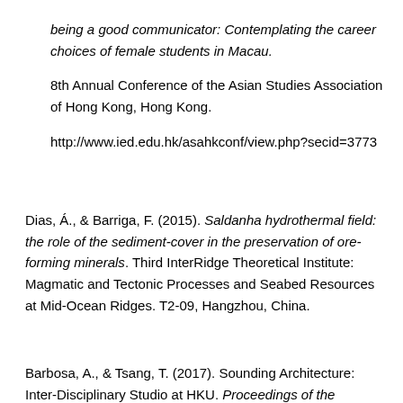being a good communicator: Contemplating the career choices of female students in Macau. 8th Annual Conference of the Asian Studies Association of Hong Kong, Hong Kong. http://www.ied.edu.hk/asahkconf/view.php?secid=3773
Dias, Á., & Barriga, F. (2015). Saldanha hydrothermal field: the role of the sediment-cover in the preservation of ore-forming minerals. Third InterRidge Theoretical Institute: Magmatic and Tectonic Processes and Seabed Resources at Mid-Ocean Ridges. T2-09, Hangzhou, China.
Barbosa, A., & Tsang, T. (2017). Sounding Architecture: Inter-Disciplinary Studio at HKU. Proceedings of the